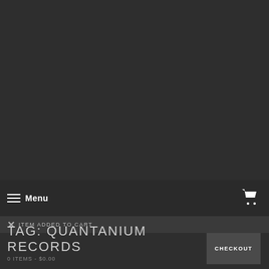[Figure (screenshot): Dark background area, mostly empty, dark gray (#2e2e2e)]
Menu
× ITEM ADDED TO CART
TAG: QUANTANIUM RECORDS
0 ITEMS - $0.00
CHECKOUT